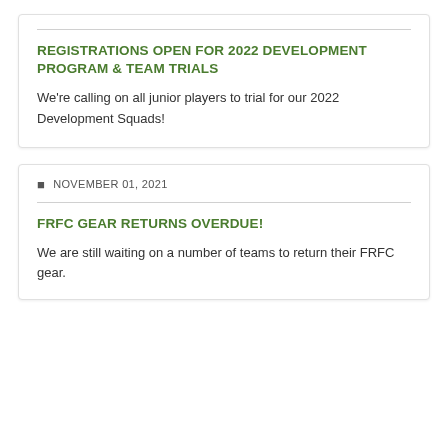REGISTRATIONS OPEN FOR 2022 DEVELOPMENT PROGRAM & TEAM TRIALS
We're calling on all junior players to trial for our 2022 Development Squads!
NOVEMBER 01, 2021
FRFC GEAR RETURNS OVERDUE!
We are still waiting on a number of teams to return their FRFC gear.